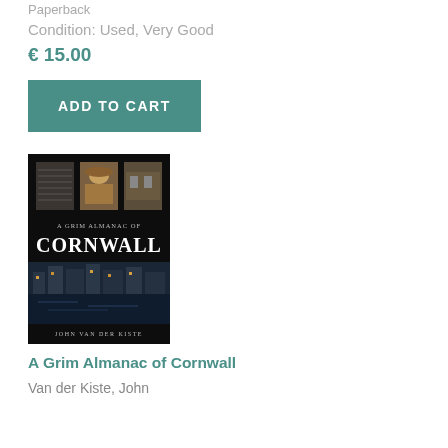Paperback
Condition: Used, Very Good
€ 15.00
ADD TO CART
[Figure (photo): Book cover of 'A Grim Almanac of Cornwall' by John Van der Kiste, showing three historical photos at the top and a nighttime coastal town scene at the bottom on a dark background.]
A Grim Almanac of Cornwall
Van der Kiste, John